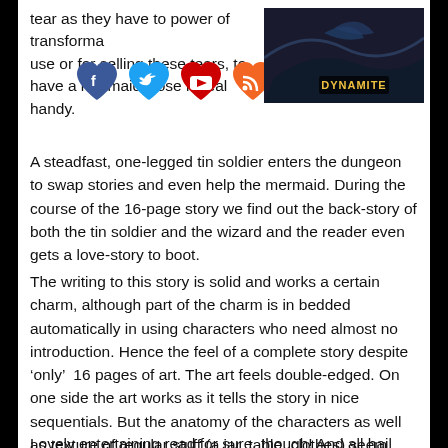tear as they have to power of transformation... use or for selling these tears, to have a mermaid close is real handy.
[Figure (photo): Dark image with a wave or creature and text 'DYNAMITE' in yellow/gold]
[Figure (illustration): Four social media heart/icon buttons: Facebook (blue), Twitter (light blue), YouTube (red), RSS (orange)]
A steadfast, one-legged tin soldier enters the dungeon to swap stories and even help the mermaid. During the course of the 16-page story we find out the back-story of both the tin soldier and the wizard and the reader even gets a love-story to boot.
The writing to this story is solid and works a certain charm, although part of the charm is in bedded automatically in using characters who need almost no introduction. Hence the feel of a complete story despite ‘only’  16 pages of art. The art feels double-edged. On one side the art works as it tells the story in nice sequentials. But the anatomy of the characters as well as texture of regular stuff (a jar, table, clothes) seem muddy…
Lovely entertaining read for sure, though! And all hail FCBD!